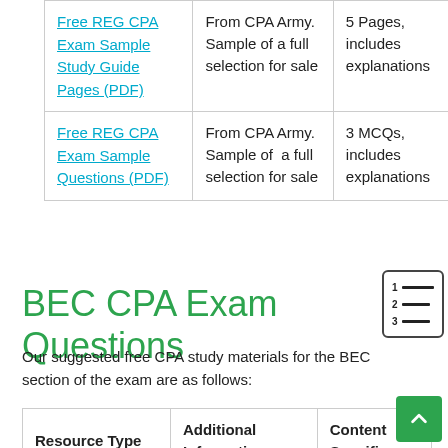| Free REG CPA Exam Sample Study Guide Pages (PDF) | From CPA Army. Sample of a full selection for sale | 5 Pages, includes explanations |
| Free REG CPA Exam Sample Questions (PDF) | From CPA Army. Sample of  a full selection for sale | 3 MCQs, includes explanations |
BEC CPA Exam Questions
Our suggested free CPA study materials for the BEC section of the exam are as follows:
| Resource Type | Additional Information | Content Specifics |
| --- | --- | --- |
| BEC Practice |  | 62 MCQs, 4 |